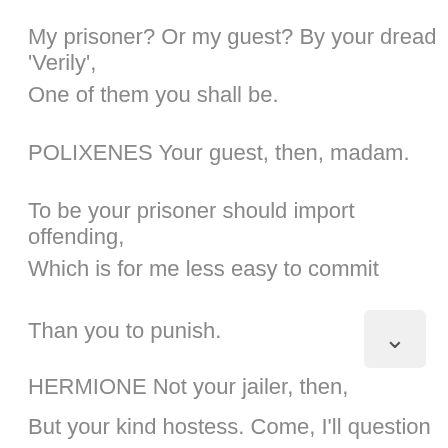My prisoner? Or my guest? By your dread 'Verily',
One of them you shall be.
POLIXENES Your guest, then, madam.
To be your prisoner should import offending,
Which is for me less easy to commit
Than you to punish.
HERMIONE Not your jailer, then,
But your kind hostess. Come, I'll question you